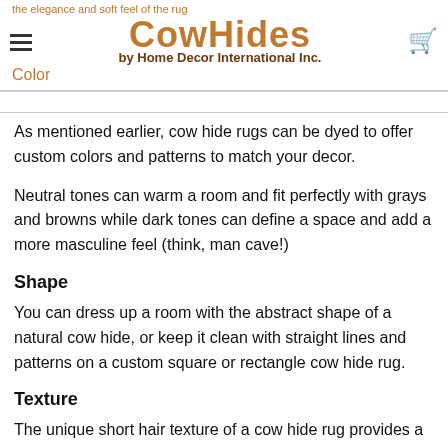CowHides by Home Decor International Inc.
the elegance and soft feel of the rug
Color
As mentioned earlier, cow hide rugs can be dyed to offer custom colors and patterns to match your decor.
Neutral tones can warm a room and fit perfectly with grays and browns while dark tones can define a space and add a more masculine feel (think, man cave!)
Shape
You can dress up a room with the abstract shape of a natural cow hide, or keep it clean with straight lines and patterns on a custom square or rectangle cow hide rug.
Texture
The unique short hair texture of a cow hide rug provides a comfortable feel for any living space.